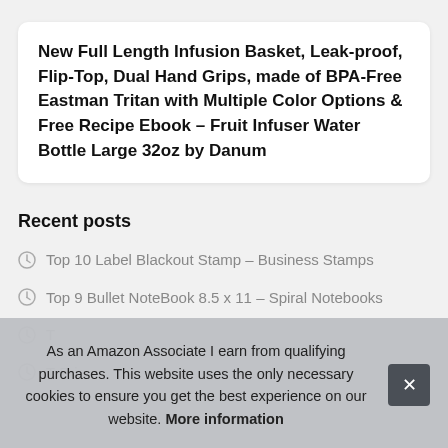New Full Length Infusion Basket, Leak-proof, Flip-Top, Dual Hand Grips, made of BPA-Free Eastman Tritan with Multiple Color Options & Free Recipe Ebook – Fruit Infuser Water Bottle Large 32oz by Danum
Recent posts
Top 10 Label Blackout Stamp – Business Stamps
Top 9 Bullet NoteBook 8.5 x 11 – Spiral Notebooks
T...
T... Prin...
T...
As an Amazon Associate I earn from qualifying purchases. This website uses the only necessary cookies to ensure you get the best experience on our website. More information